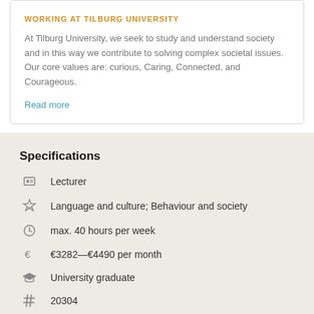WORKING AT TILBURG UNIVERSITY
At Tilburg University, we seek to study and understand society and in this way we contribute to solving complex societal issues. Our core values are: curious, Caring, Connected, and Courageous.
Read more
Specifications
Lecturer
Language and culture; Behaviour and society
max. 40 hours per week
€3282—€4490 per month
University graduate
20304